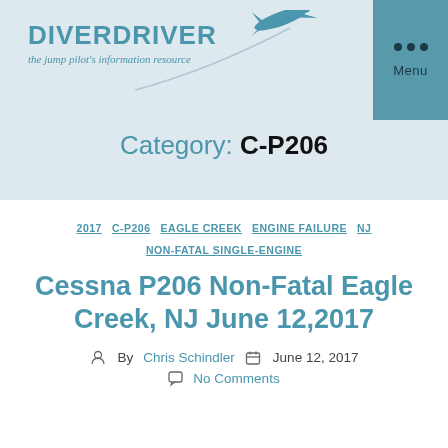DiverDriver — the jump pilot's information resource
Category: C-P206
2017   C-P206   EAGLE CREEK   ENGINE FAILURE   NJ   NON-FATAL SINGLE-ENGINE
Cessna P206 Non-Fatal Eagle Creek, NJ June 12,2017
By Chris Schindler   June 12, 2017   No Comments